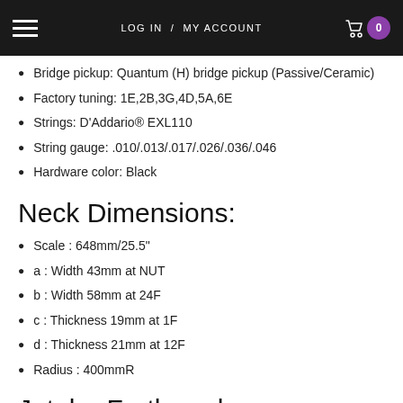LOG IN / MY ACCOUNT  0
Bridge pickup: Quantum (H) bridge pickup (Passive/Ceramic)
Factory tuning: 1E,2B,3G,4D,5A,6E
Strings: D'Addario® EXL110
String gauge: .010/.013/.017/.026/.036/.046
Hardware color: Black
Neck Dimensions:
Scale : 648mm/25.5"
a : Width 43mm at NUT
b : Width 58mm at 24F
c : Thickness 19mm at 1F
d : Thickness 21mm at 12F
Radius : 400mmR
Jatoba Fretboard